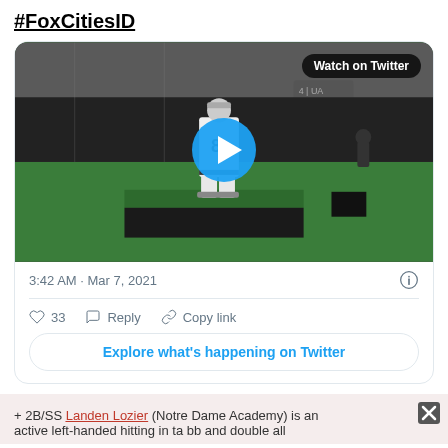#FoxCitiesID
[Figure (screenshot): Twitter tweet embed showing a video thumbnail of a baseball player wearing jersey number 8 standing on a pitching mound inside an indoor facility with green turf. A blue play button circle is centered on the video. A 'Watch on Twitter' badge appears in the top right of the video. Below the video: timestamp '3:42 AM · Mar 7, 2021', an info icon, a heart icon with '33', a Reply option, a Copy link option, and an 'Explore what's happening on Twitter' button.]
+ 2B/SS Landen Lozier (Notre Dame Academy) is an active left-handed hitting in ta bb and double all